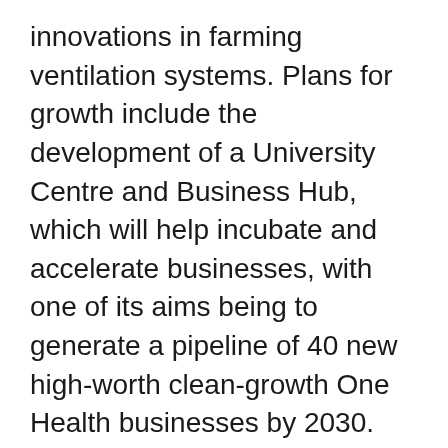innovations in farming ventilation systems. Plans for growth include the development of a University Centre and Business Hub, which will help incubate and accelerate businesses, with one of its aims being to generate a pipeline of 40 new high-worth clean-growth One Health businesses by 2030.
Dorset puts this key sector at the heart of its promotion and each year engages in the Department for International Trade's Game-Changing Technologies for Agriculture in London which focuses